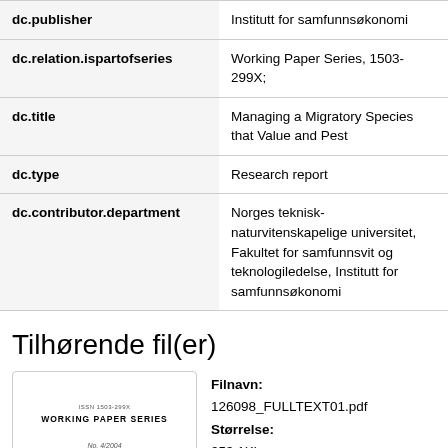| Field | Value |
| --- | --- |
| dc.publisher | Institutt for samfunnsøkonomi |
| dc.relation.ispartofseries | Working Paper Series, 1503-299X; |
| dc.title | Managing a Migratory Species that Value and Pest |
| dc.type | Research report |
| dc.contributor.department | Norges teknisk-naturvitenskapelige universitet, Fakultet for samfunnsvit og teknologiledelse, Institutt for samfunnsøkonomi |
Tilhørende fil(er)
[Figure (other): Thumbnail of a Working Paper Series document cover, No. 4/2004]
Filnavn: 126098_FULLTEXT01.pdf Størrelse: 253.1Kb Format: